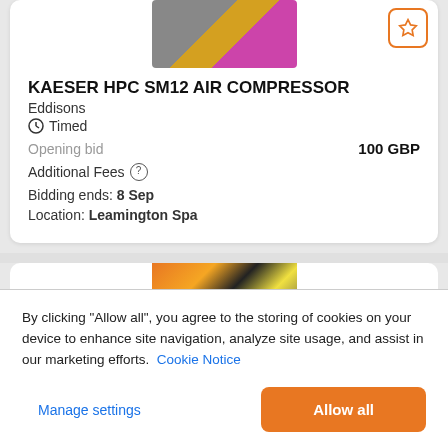[Figure (photo): Partial image of industrial equipment at top of card]
KAESER HPC SM12 AIR COMPRESSOR
Eddisons
Timed
Opening bid  100 GBP
Additional Fees
Bidding ends: 8 Sep
Location: Leamington Spa
[Figure (photo): Partial image of industrial equipment, second listing]
By clicking “Allow all”, you agree to the storing of cookies on your device to enhance site navigation, analyze site usage, and assist in our marketing efforts. Cookie Notice
Manage settings
Allow all